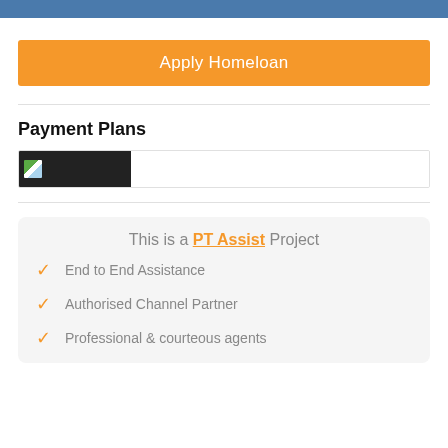Apply Homeloan
Payment Plans
[Figure (photo): Thumbnail image of a building or property with dark background strip]
This is a PT Assist Project
End to End Assistance
Authorised Channel Partner
Professional & courteous agents